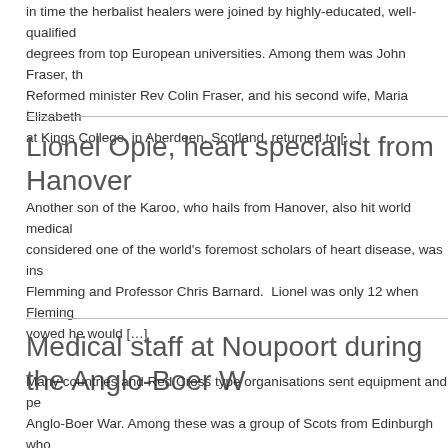in time the herbalist healers were joined by highly-educated, well-qualified degrees from top European universities. Among them was John Fraser, the Reformed minister Rev Colin Fraser, and his second wife, Maria Elizabeth at Kings College, in Aberdeen, Scotland, returned to […]
.
Lionel Opie, heart specialist from Hanover
Another son of the Karoo, who hails from Hanover, also hit world medical considered one of the world's foremost scholars of heart disease, was ins Flemming and Professor Chris Barnard.  Lionel was only 12 when Fleming vowed he would […]
.
Medical staff at Noupoort during the Anglo-Boer W
Many countries and Red Cross type organisations sent equipment and pe Anglo-Boer War. Among these was a group of Scots from Edinburgh who a hospital, writes professor J C (Kay) de Villiers in Healers, Helpers and H SS Briton […]